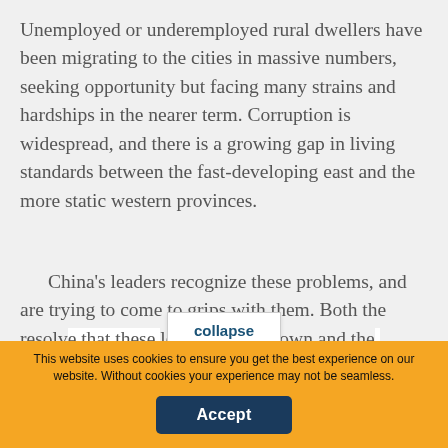Unemployed or underemployed rural dwellers have been migrating to the cities in massive numbers, seeking opportunity but facing many strains and hardships in the nearer term. Corruption is widespread, and there is a growing gap in living standards between the fast-developing east and the more static western provinces.
China's leaders recognize these problems, and are trying to come to grips with them. Both the resolve that these leaders have shown and the [text obscured] they have
collapse
You are not currently authenticated. If you would like to authenticate using a different subscribed institution or
This website uses cookies to ensure you get the best experience on our website. Without cookies your experience may not be seamless.
Accept